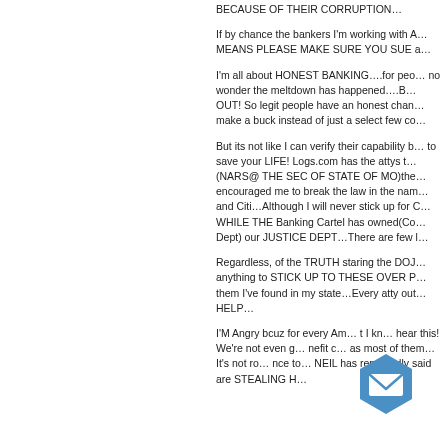BECAUSE OF THEIR CORRUPTION…
If by chance the bankers I'm working with A… MEANS PLEASE MAKE SURE YOU SUE a…
I'm all about HONEST BANKING….for peo… no wonder the meltdown has happened….B… OUT! So legit people have an honest chan… make a buck instead of just a select few co…
But its not like I can verify their capability b… to save your LIFE! Logs.com has the attys t… (NARS@ THE SEC OF STATE OF MO)the… encouraged me to break the law in the nam… and Citi…Although I will never stick up for C… WHILE THE Banking Cartel has owned(Co… Dept) our JUSTICE DEPT…There are few l…
Regardless, of the TRUTH staring the DOJ… anything to STICK UP TO THESE OVER P… them I've found in my state…Every atty out… HELP…
I'M Angry bcuz for every Am… t I kn… hear this! We're not even g… nefit c… as most of them… It's not ro… nce to… NEIL has repeatedly said are STEALING H…
[Figure (logo): Blue hexagonal email/message icon with envelope symbol]